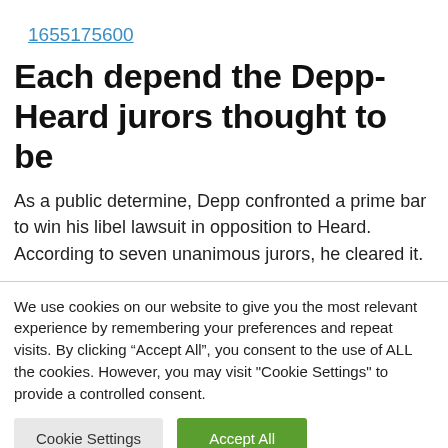1655175600
Each depend the Depp-Heard jurors thought to be
As a public determine, Depp confronted a prime bar to win his libel lawsuit in opposition to Heard. According to seven unanimous jurors, he cleared it.
We use cookies on our website to give you the most relevant experience by remembering your preferences and repeat visits. By clicking “Accept All”, you consent to the use of ALL the cookies. However, you may visit "Cookie Settings" to provide a controlled consent.